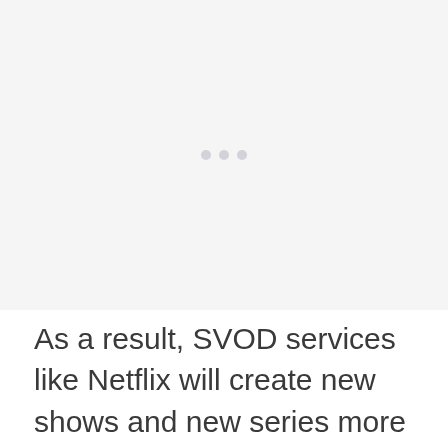[Figure (other): A large placeholder image area with a light gray background and faint dots in the center, representing an embedded image or video thumbnail.]
As a result, SVOD services like Netflix will create new shows and new series more frequently and will kill off material before its broad appeal